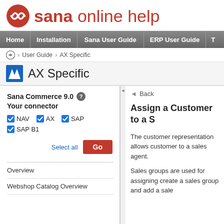sana online help
Home | Installation | Sana User Guide | ERP User Guide
User Guide > AX Specific
AX Specific
Sana Commerce 9.0
Your connector
NAV AX SAP SAP B1
Select all  Go
Overview
Webshop Catalog Overview
Back
Assign a Customer to a S
The customer representation allows customer to a sales agent.
Sales groups are used for assigning create a sales group and add a sale